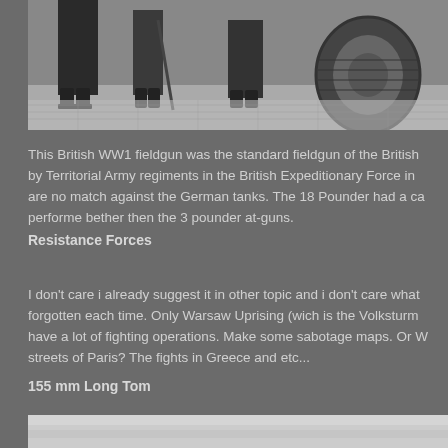[Figure (photo): Black and white photograph showing boots and legs of soldiers standing near a large vehicle wheel, on a cobblestone or sandy surface.]
This British WW1 fieldgun was the standard fieldgun of the British by Territorial Army regiments in the British Expeditionary Force in are no match against the German tanks. The 18 Pounder had a ca performe bether then the 3 pounder at-guns.
Resistance Forces
I don't care i already suggest it in other topic and i don't care what forgotten each time. Only Warsaw Uprising (wich is the Volksturm have a lot of fighting operations. Make some sabotage maps. Or W streets of Paris? The fights in Greece and etc...
155 mm Long Tom
[Figure (photo): Partial view of a black and white photograph at the bottom of the page.]